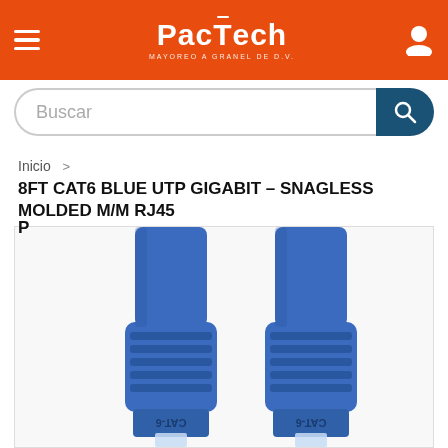PacTech MAYOREO A GRANEL DE D.V.
Buscar
Inicio >
8FT CAT6 BLUE UTP GIGABIT – SNAGLESS MOLDED M/M RJ45
[Figure (photo): Close-up photo of two blue CAT-6 RJ45 ethernet cable connectors with molded strain relief boots labeled CAT-6, showing the transparent locking tabs at the bottom.]